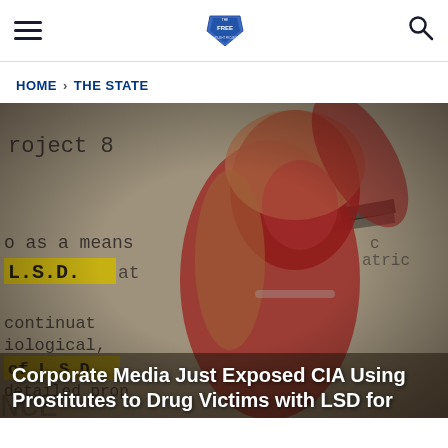The Free Thought Project — navigation bar with hamburger menu and search icon
HOME > THE STATE
[Figure (photo): Composite image showing a woman with blonde hair lit in red light, overlaid on a background of typewritten government document text with highlighted phrases 'L.S.D.' in yellow highlighter. Visible text fragments include: 'roject 8', 'o as a means', 'L.S.D. at', 'continuat', 'iological,', 'of L.S.D,', 'detailed prop', 'NCE', 'atric'. The overall image has a dark, ominous tone.]
Corporate Media Just Exposed CIA Using Prostitutes to Drug Victims with LSD for